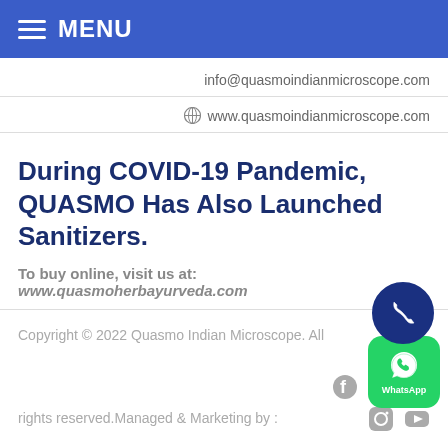☰ MENU
info@quasmoindianmicroscope.com
www.quasmoindianmicroscope.com
During COVID-19 Pandemic, QUASMO Has Also Launched Sanitizers.
To buy online, visit us at: www.quasmoherbayurveda.com
Copyright © 2022 Quasmo Indian Microscope. All rights reserved.Managed & Marketing by :